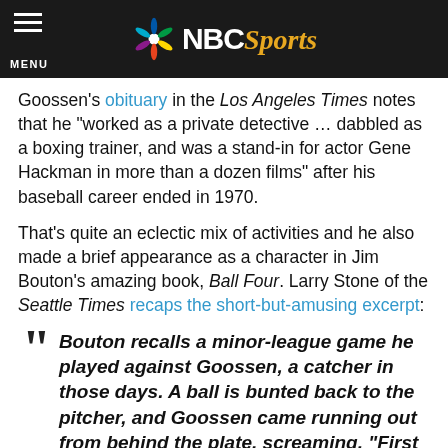NBC Sports
Goossen’s obituary in the Los Angeles Times notes that he “worked as a private detective … dabbled as a boxing trainer, and was a stand-in for actor Gene Hackman in more than a dozen films” after his baseball career ended in 1970.
That’s quite an eclectic mix of activities and he also made a brief appearance as a character in Jim Bouton’s amazing book, Ball Four. Larry Stone of the Seattle Times recaps the short-but-amusing excerpt:
“Bouton recalls a minor-league game he played against Goossen, a catcher in those days. A ball is bunted back to the pitcher, and Goossen came running out from behind the plate, screaming, “First base! First base!”